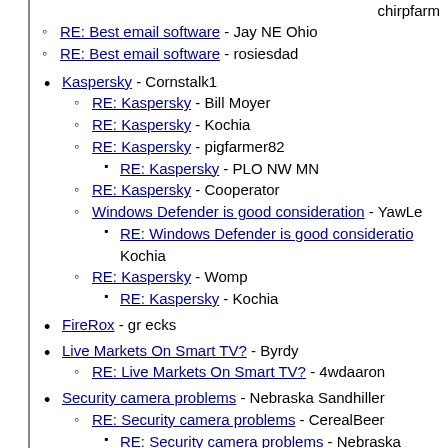chirpfarm
RE: Best email software - Jay NE Ohio
RE: Best email software - rosiesdad
Kaspersky - Cornstalk1
RE: Kaspersky - Bill Moyer
RE: Kaspersky - Kochia
RE: Kaspersky - pigfarmer82
RE: Kaspersky - PLO NW MN
RE: Kaspersky - Cooperator
Windows Defender is good consideration - YawLe
RE: Windows Defender is good consideration - Kochia
RE: Kaspersky - Womp
RE: Kaspersky - Kochia
FireRox - gr ecks
Live Markets On Smart TV? - Byrdy
RE: Live Markets On Smart TV? - 4wdaaron
Security camera problems - Nebraska Sandhiller
RE: Security camera problems - CerealBeer
RE: Security camera problems - Nebraska Sandhiller
RE: Security camera problems - ...